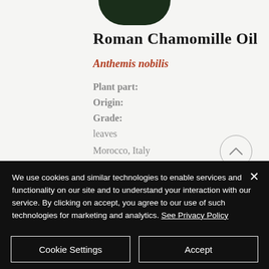[Figure (photo): Dark green plant foliage image at top center, partially cropped]
Roman Chamomille Oil
Anthemis nobilis
Plant part:
Origin:
Grade:
leaves
Morocco, Italy
We use cookies and similar technologies to enable services and functionality on our site and to understand your interaction with our service. By clicking on accept, you agree to our use of such technologies for marketing and analytics. See Privacy Policy